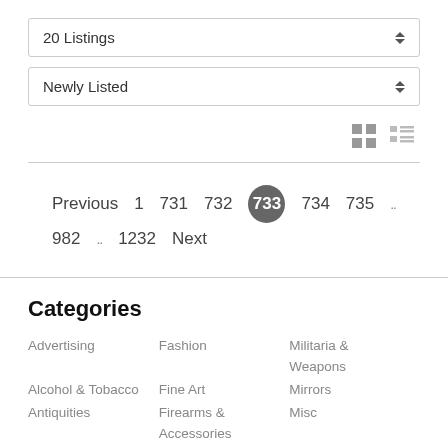20 Listings
Newly Listed
Previous  1  731  732  733  734  735  …  982  …  1232  Next
Categories
Advertising
Alcohol & Tobacco
Antiquities
Architectural
Art
Fashion
Fine Art
Firearms & Accessories
Folk Art
Militaria & Weapons
Mirrors
Misc
Musical